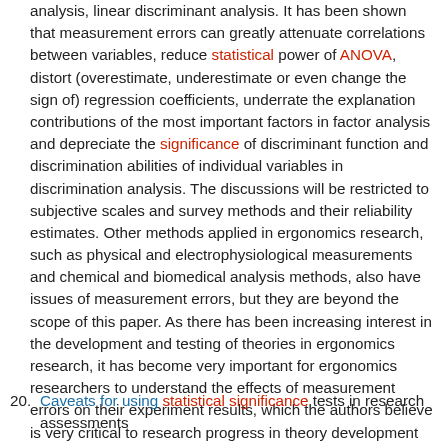analysis, linear discriminant analysis. It has been shown that measurement errors can greatly attenuate correlations between variables, reduce statistical power of ANOVA, distort (overestimate, underestimate or even change the sign of) regression coefficients, underrate the explanation contributions of the most important factors in factor analysis and depreciate the significance of discriminant function and discrimination abilities of individual variables in discrimination analysis. The discussions will be restricted to subjective scales and survey methods and their reliability estimates. Other methods applied in ergonomics research, such as physical and electrophysiological measurements and chemical and biomedical analysis methods, also have issues of measurement errors, but they are beyond the scope of this paper. As there has been increasing interest in the development and testing of theories in ergonomics research, it has become very important for ergonomics researchers to understand the effects of measurement errors on their experiment results, which the authors believe is very critical to research progress in theory development and cumulative knowledge in the ergonomics field.
20. Caveats for using statistical significance tests in research assessments